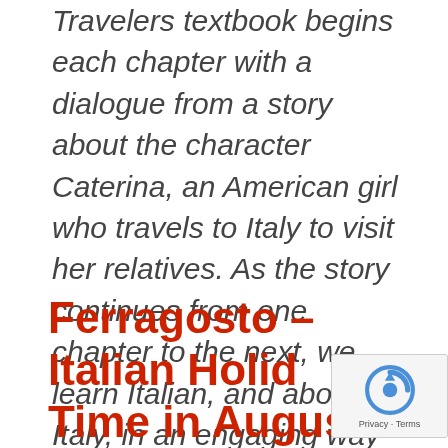Travelers textbook begins each chapter with a dialogue from a story about the character Caterina, an American girl who travels to Italy to visit her relatives. As the story continues from one chapter to the next, we learn Italian, and about Italy, in an engaging way through Caterina's experiences.
Ferragosto – Italian Holiday Time in August